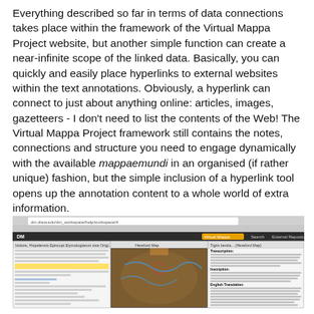Everything described so far in terms of data connections takes place within the framework of the Virtual Mappa Project website, but another simple function can create a near-infinite scope of the linked data. Basically, you can quickly and easily place hyperlinks to external websites within the text annotations. Obviously, a hyperlink can connect to just about anything online: articles, images, gazetteers - I don't need to list the contents of the Web! The Virtual Mappa Project framework still contains the notes, connections and structure you need to engage dynamically with the available mappaemundi in an organised (if rather unique) fashion, but the simple inclusion of a hyperlink tool opens up the annotation content to a whole world of extra information.
[Figure (screenshot): Screenshot of the Virtual Mappa Project web interface showing three panels: a Latin text panel on the left, the Hereford Map in the center, and a transcription/annotation panel on the right with English translation visible.]